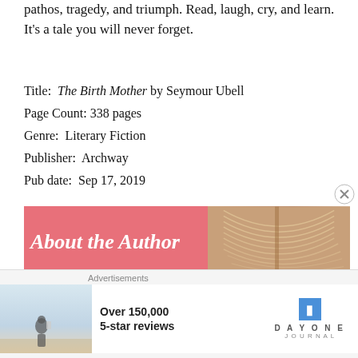pathos, tragedy, and triumph. Read, laugh, cry, and learn. It's a tale you will never forget.
Title:  The Birth Mother by Seymour Ubell
Page Count: 338 pages
Genre:  Literary Fiction
Publisher:  Archway
Pub date:  Sep 17, 2019
About the Author
Seymour Ubell is not a professional author. In fact he never went to college. His father died when Seymour was seventeen years old and suddenly had to get a job
[Figure (other): Advertisement banner: Over 150,000 5-star reviews, Day One Journal logo with blue bookmark icon]
Advertisements